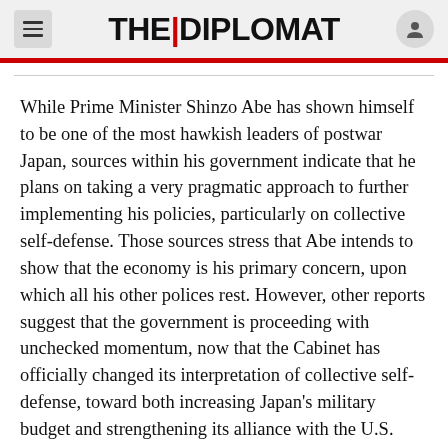THE DIPLOMAT
While Prime Minister Shinzo Abe has shown himself to be one of the most hawkish leaders of postwar Japan, sources within his government indicate that he plans on taking a very pragmatic approach to further implementing his policies, particularly on collective self-defense. Those sources stress that Abe intends to show that the economy is his primary concern, upon which all his other polices rest. However, other reports suggest that the government is proceeding with unchecked momentum, now that the Cabinet has officially changed its interpretation of collective self-defense, toward both increasing Japan's military budget and strengthening its alliance with the U.S.